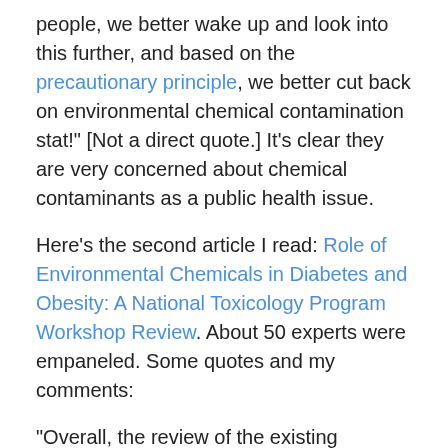people, we better wake up and look into this further, and based on the precautionary principle, we better cut back on environmental chemical contamination stat!" [Not a direct quote.] It's clear they are very concerned about chemical contaminants as a public health issue.
Here's the second article I read: Role of Environmental Chemicals in Diabetes and Obesity: A National Toxicology Program Workshop Review. About 50 experts were empaneled. Some quotes and my comments:
“Overall, the review of the existing literature identified linkages between several of the environmental exposures and type 2 diabetes. There was also support for the “developmental obesogen” hypothesis, which suggests that chemical exposures may increase the risk of obesity by altering the differentiation of adipocytes [maturation and